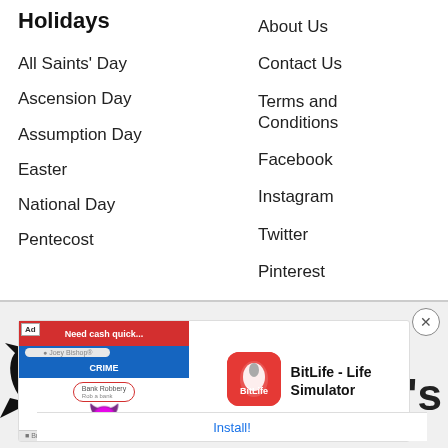Holidays
All Saints' Day
Ascension Day
Assumption Day
Easter
National Day
Pentecost
About Us
Contact Us
Terms and Conditions
Facebook
Instagram
Twitter
Pinterest
[Figure (screenshot): Advertisement for BitLife - Life Simulator app with 'Install!' call to action button]